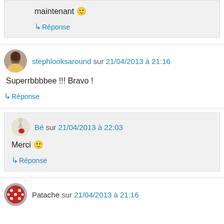maintenant 🙂
↳ Réponse
stephlooksaround sur 21/04/2013 à 21:16
Superrbbbbee !!! Bravo !
↳ Réponse
Bé sur 21/04/2013 à 22:03
Merci 🙂
↳ Réponse
Patache sur 21/04/2013 à 21:16